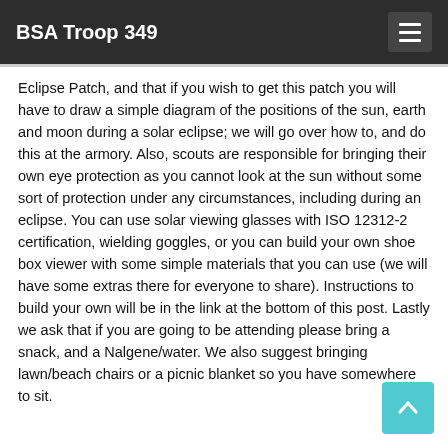BSA Troop 349
Eclipse Patch, and that if you wish to get this patch you will have to draw a simple diagram of the positions of the sun, earth and moon during a solar eclipse; we will go over how to, and do this at the armory. Also, scouts are responsible for bringing their own eye protection as you cannot look at the sun without some sort of protection under any circumstances, including during an eclipse. You can use solar viewing glasses with ISO 12312-2 certification, wielding goggles, or you can build your own shoe box viewer with some simple materials that you can use (we will have some extras there for everyone to share). Instructions to build your own will be in the link at the bottom of this post. Lastly we ask that if you are going to be attending please bring a snack, and a Nalgene/water. We also suggest bringing lawn/beach chairs or a picnic blanket so you have somewhere to sit.